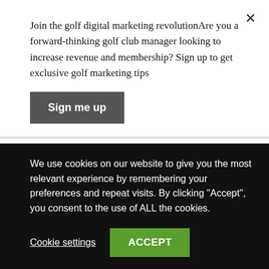[Figure (screenshot): Email signup modal overlay with close button (×), promotional text about golf digital marketing, and a 'Sign me up' button]
small courses waste their marketing dollars. While it may be true that golf in general appeals to a broad audience, when it comes to marketing you need to narrow down your target to a recognisable group so you can use messaging and marketing approaches that reach them directly. If you don't
[Figure (screenshot): Cookie consent banner with text about cookies and two buttons: 'Cookie settings' and 'ACCEPT']